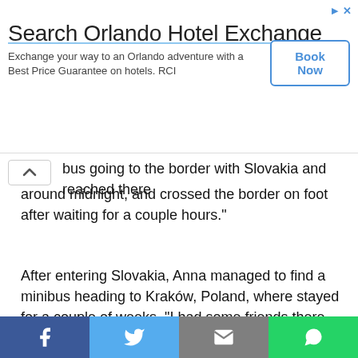[Figure (other): Advertisement banner for Search Orlando Hotel Exchange. Shows title, description text, and a Book Now button. Top right has ad indicator arrows and X.]
bus going to the border with Slovakia and reached there around midnight, and crossed the border on foot after waiting for a couple hours."
After entering Slovakia, Anna managed to find a minibus heading to Kraków, Poland, where stayed for a couple of weeks. "I had some friends there who helped her and provided her accommodation," Anubhav said. "Finally, she applied for a visa at the Indian embassy in Poland and when it was granted, she flew to India and I proposed to her at the airport."
Now that Anna is in India, Anubhav says they are going to get married soon and then she will apply for Indian citizenship. As of now
[Figure (other): Social media share bar at the bottom with four buttons: Facebook (blue), Twitter (light blue), Email (grey), WhatsApp (green)]